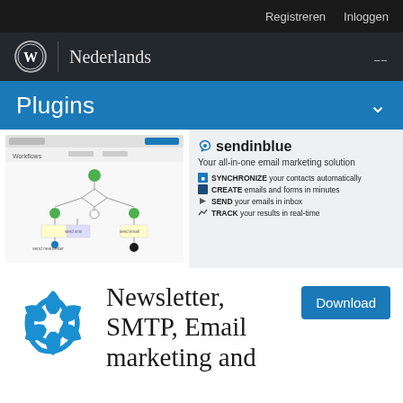Registreren   Inloggen
[Figure (logo): WordPress logo with 'Nederlands' text and navigation menu icon]
Plugins
[Figure (screenshot): Sendinblue plugin promo: workflow screenshot on left, sendinblue logo and features on right. Features: SYNCHRONIZE your contacts automatically, CREATE emails and forms in minutes, SEND your emails in inbox, TRACK your results in real-time]
[Figure (logo): Sendinblue blue swirl logo icon]
Newsletter, SMTP, Email marketing and
Download